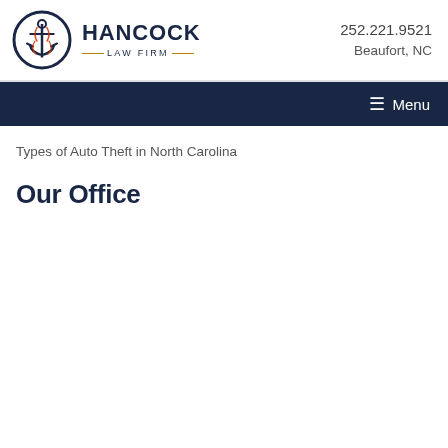[Figure (logo): Hancock Law Firm logo: circular anchor emblem with HANCOCK LAW FIRM text and contact info 252.221.9521, Beaufort, NC]
≡ Menu
Types of Auto Theft in North Carolina
Our Office